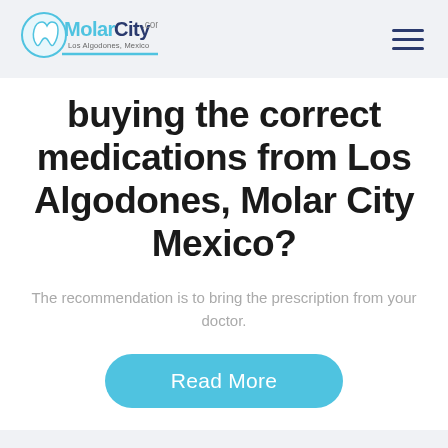[Figure (logo): MolarCity.com logo with tooth icon and text 'Los Algodones, Mexico']
buying the correct medications from Los Algodones, Molar City Mexico?
The recommendation is to bring the prescription from your doctor.
Read More